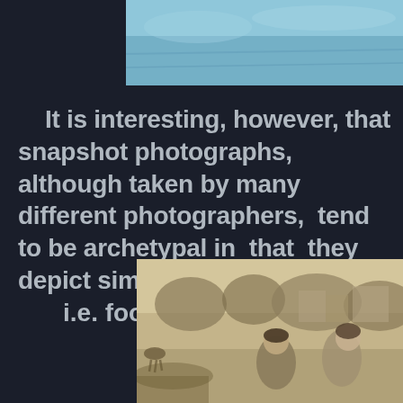[Figure (photo): Partial blue-toned photograph visible at top right of page, showing a sky or water scene]
It is interesting, however, that snapshot photographs, although taken by many different photographers, tend to be archetypal in that they depict similar subject matter,
i.e. food,
[Figure (photo): Sepia-toned vintage photograph showing two women outdoors with buildings and trees in the background]